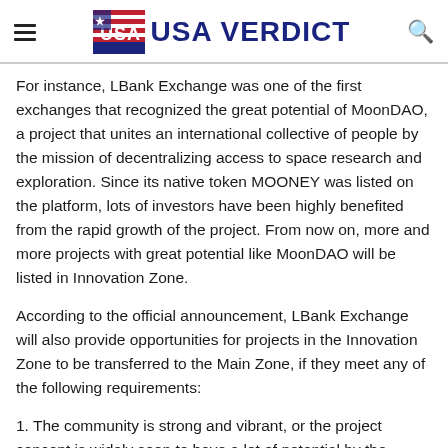USA VERDICT
For instance, LBank Exchange was one of the first exchanges that recognized the great potential of MoonDAO, a project that unites an international collective of people by the mission of decentralizing access to space research and exploration. Since its native token MOONEY was listed on the platform, lots of investors have been highly benefited from the rapid growth of the project. From now on, more and more projects with great potential like MoonDAO will be listed in Innovation Zone.
According to the official announcement, LBank Exchange will also provide opportunities for projects in the Innovation Zone to be transferred to the Main Zone, if they meet any of the following requirements:
1. The community is strong and vibrant, or the project concept is widely seen to have a lot of potential by the mainstream